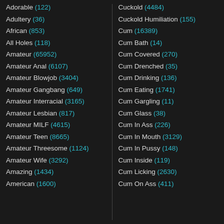Adorable (122)
Adultery (36)
African (853)
All Holes (118)
Amateur (65952)
Amateur Anal (6107)
Amateur Blowjob (3404)
Amateur Gangbang (649)
Amateur Interracial (3165)
Amateur Lesbian (817)
Amateur MILF (4615)
Amateur Teen (8665)
Amateur Threesome (1124)
Amateur Wife (3292)
Amazing (1434)
American (1600)
Cuckold (4484)
Cuckold Humiliation (155)
Cum (16389)
Cum Bath (14)
Cum Covered (270)
Cum Drenched (35)
Cum Drinking (136)
Cum Eating (1741)
Cum Gargling (11)
Cum Glass (38)
Cum In Ass (226)
Cum In Mouth (3129)
Cum In Pussy (148)
Cum Inside (119)
Cum Licking (2630)
Cum On Ass (411)